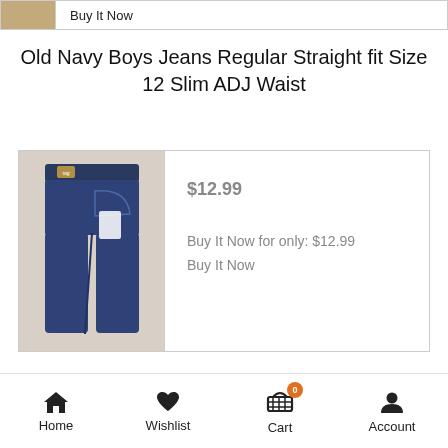Buy It Now
Old Navy Boys Jeans Regular Straight fit Size 12 Slim ADJ Waist
[Figure (photo): Photo of dark blue boys jeans folded, with a tag attached]
$12.99
Buy It Now for only: $12.99
Buy It Now
Boy's CLASS CLUB Red Zipper Silk Tie. NWT.
Home  Wishlist  Cart  Account